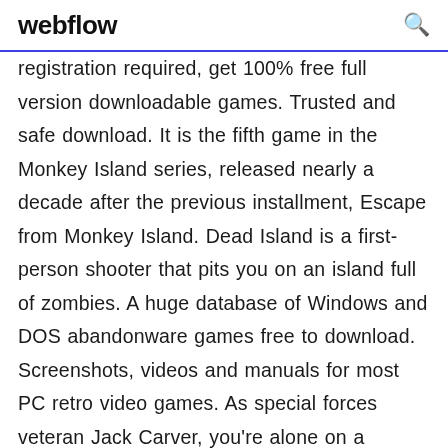webflow
registration required, get 100% free full version downloadable games. Trusted and safe download. It is the fifth game in the Monkey Island series, released nearly a decade after the previous installment, Escape from Monkey Island. Dead Island is a first-person shooter that pits you on an island full of zombies. A huge database of Windows and DOS abandonware games free to download. Screenshots, videos and manuals for most PC retro video games. As special forces veteran Jack Carver, you're alone on a tropical island, searching for a missing journalist. Opposing you are squads of mercenaries as well as other, more exotic opponents. Want to get Mallorca X Evolution -